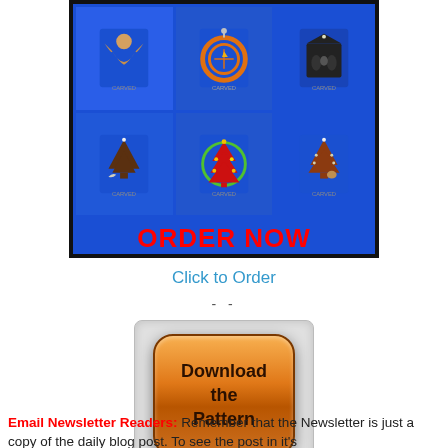[Figure (photo): Collage of Christmas wooden ornaments on blue background with 'ORDER NOW' text in red at the bottom. Six ornaments shown: angel, round ornament, nativity scene silhouette, two Christmas trees with animals, and a decorated Christmas tree. Black border around the collage.]
Click to Order
- -
[Figure (illustration): Orange rounded square button with text 'Download the Pattern' in dark brown bold text, inside a light gray rounded rectangle container.]
Email Newsletter Readers: Remember that the Newsletter is just a copy of the daily blog post. To see the post in it's